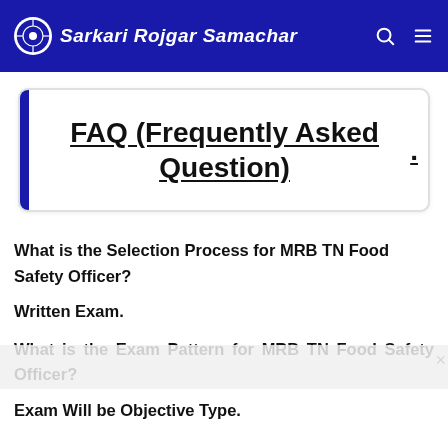Sarkari Rojgar Samachar
FAQ (Frequently Asked Question)
What is the Selection Process for MRB TN Food Safety Officer?
Written Exam.
What is the Exam Pattern for MRB TN Food Safety Officer?
Exam Will be Objective Type.